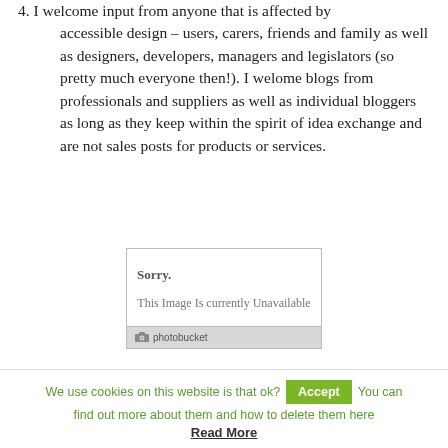4. I welcome input from anyone that is affected by accessible design – users, carers, friends and family as well as designers, developers, managers and legislators (so pretty much everyone then!). I welome blogs from professionals and suppliers as well as individual bloggers as long as they keep within the spirit of idea exchange and are not sales posts for products or services.
[Figure (other): Photobucket placeholder image showing 'Sorry. This Image Is currently Unavailable' with Photobucket logo footer]
We use cookies on this website is that ok? [Accept] You can find out more about them and how to delete them here Read More